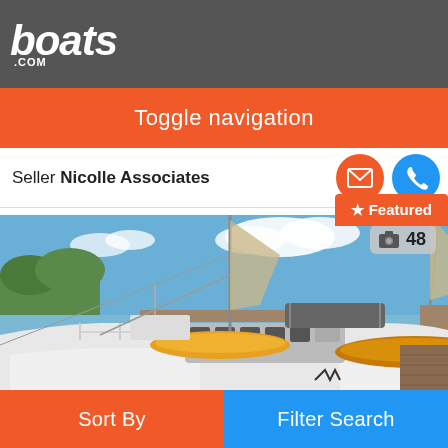boats.com
Toggle navigation
Seller Nicolle Associates
[Figure (photo): Catamaran sailing yacht docked at marina, viewed from stern angle showing deck with yellow kayaks and equipment, blue sky with clouds in background. Photo count badge showing 48 photos.]
Sort By
Filter Search